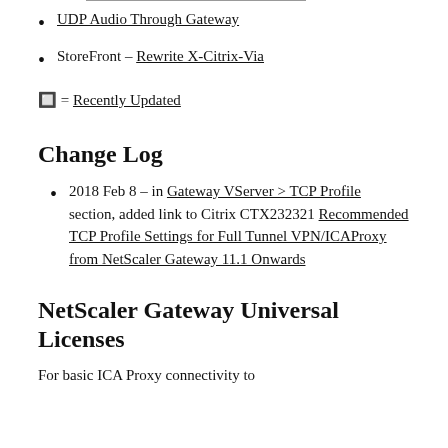UDP Audio Through Gateway
StoreFront – Rewrite X-Citrix-Via
🔲 = Recently Updated
Change Log
2018 Feb 8 – in Gateway VServer > TCP Profile section, added link to Citrix CTX232321 Recommended TCP Profile Settings for Full Tunnel VPN/ICAProxy from NetScaler Gateway 11.1 Onwards
NetScaler Gateway Universal Licenses
For basic ICA Proxy connectivity to